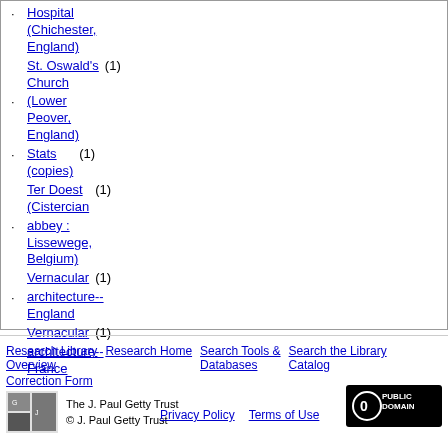Hospital (Chichester, England)
St. Oswald's Church (Lower Peover, England) (1)
Stats (copies) (1)
Ter Doest (Cistercian abbey : Lissewege, Belgium) (1)
Vernacular architecture--England (1)
Vernacular architecture--France (1)
Research Library Overview  Research Home  Search Tools & Databases  Search the Library Catalog  Correction Form
The J. Paul Getty Trust © J. Paul Getty Trust
Privacy Policy  Terms of Use